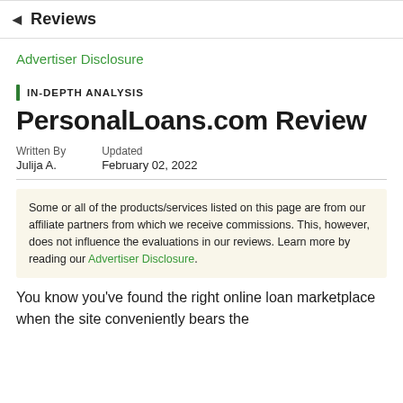◄ Reviews
Advertiser Disclosure
IN-DEPTH ANALYSIS
PersonalLoans.com Review
Written By
Julija A.
Updated
February 02, 2022
Some or all of the products/services listed on this page are from our affiliate partners from which we receive commissions. This, however, does not influence the evaluations in our reviews. Learn more by reading our Advertiser Disclosure.
You know you've found the right online loan marketplace when the site conveniently bears the